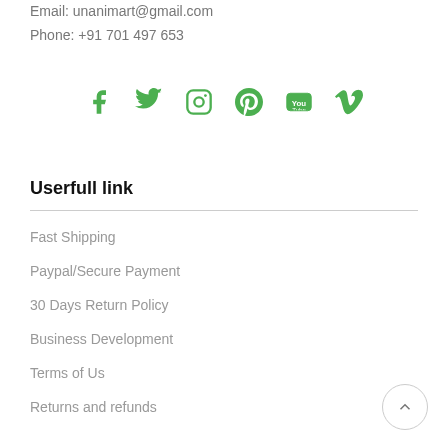Email: unanimart@gmail.com
Phone: +91 701 497 653
[Figure (illustration): Row of social media icons: Facebook, Twitter, Instagram, Pinterest, YouTube, Vimeo — all in green]
Userfull link
Fast Shipping
Paypal/Secure Payment
30 Days Return Policy
Business Development
Terms of Us
Returns and refunds